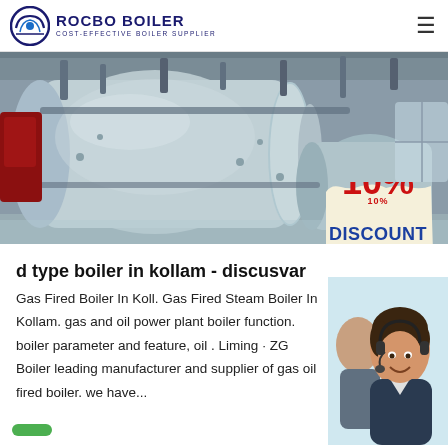ROCBO BOILER – COST-EFFECTIVE BOILER SUPPLIER
[Figure (photo): Industrial gas fired boiler in a factory/warehouse setting, large cylindrical silver boiler with pipes and industrial equipment visible]
[Figure (infographic): 10% DISCOUNT badge in red and blue text on cream/yellow torn paper background]
d type boiler in kollam - discusvar
Gas Fired Boiler In Koll. Gas Fired Steam Boiler In Kollam. gas and oil power plant boiler function. boiler parameter and feature, oil . Liming · ZG Boiler leading manufacturer and supplier of gas oil fired boiler. we have...
[Figure (photo): Customer service agent woman with headset smiling, with another agent in background]
7X24 Online